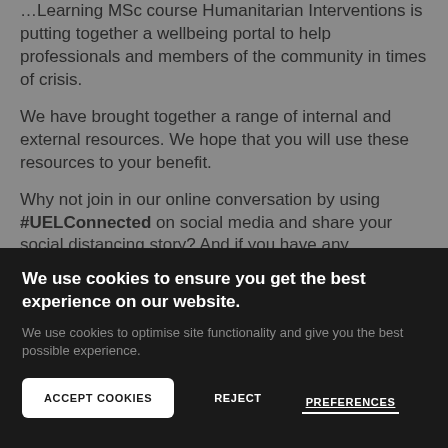…Learning MSc course Humanitarian Interventions is putting together a wellbeing portal to help professionals and members of the community in times of crisis.
We have brought together a range of internal and external resources. We hope that you will use these resources to your benefit.
Why not join in our online conversation by using #UELConnected on social media and share your social distancing story? And if you have any resources or tips you'd
We use cookies to ensure you get the best experience on our website. We use cookies to optimise site functionality and give you the best possible experience.